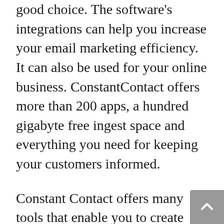good choice. The software's integrations can help you increase your email marketing efficiency. It can also be used for your online business. ConstantContact offers more than 200 apps, a hundred gigabyte free ingest space and everything you need for keeping your customers informed.
Constant Contact offers many tools that enable you to create drip campaigns. You can add new emails to your list and segment it. Using the email automation feature, you can also add email triggers. These are emails that you send to your list at a specific time. You can also set delays between emails and personalize their order. You can create as many as five different workflows for your subscribers. Multiple workflows can be